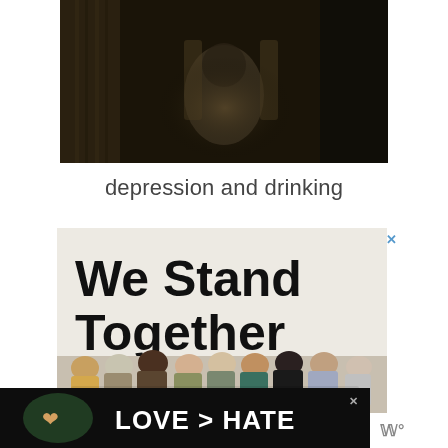[Figure (photo): Dark moody photo of a person sitting in a chair, dimly lit, suggesting depression or isolation]
depression and drinking
[Figure (photo): Advertisement showing 'We Stand Together' text with a group of diverse people standing with arms around each other, viewed from behind]
[Figure (photo): Bottom banner advertisement showing 'LOVE > HATE' text with hands forming a heart shape, dark background, with close button and logo]